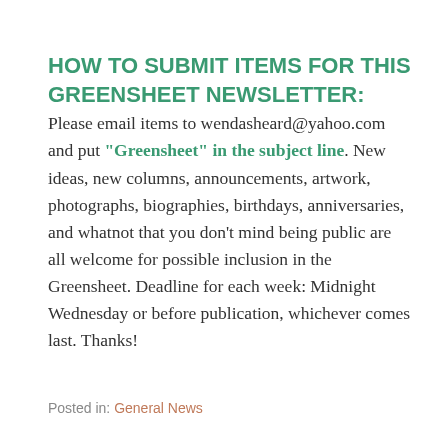HOW TO SUBMIT ITEMS FOR THIS GREENSHEET NEWSLETTER: Please email items to wendasheard@yahoo.com and put "Greensheet" in the subject line. New ideas, new columns, announcements, artwork, photographs, biographies, birthdays, anniversaries, and whatnot that you don't mind being public are all welcome for possible inclusion in the Greensheet. Deadline for each week: Midnight Wednesday or before publication, whichever comes last. Thanks!
Posted in: General News